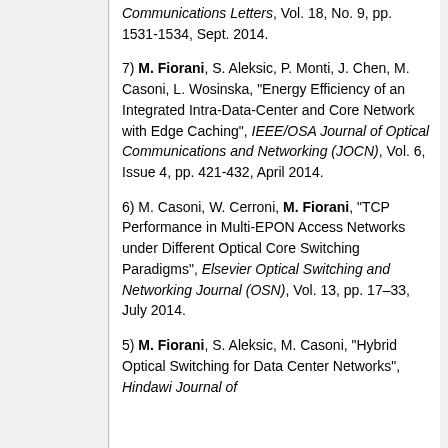Communications Letters, Vol. 18, No. 9, pp. 1531-1534, Sept. 2014.
7) M. Fiorani, S. Aleksic, P. Monti, J. Chen, M. Casoni, L. Wosinska, "Energy Efficiency of an Integrated Intra-Data-Center and Core Network with Edge Caching", IEEE/OSA Journal of Optical Communications and Networking (JOCN), Vol. 6, Issue 4, pp. 421-432, April 2014.
6) M. Casoni, W. Cerroni, M. Fiorani, "TCP Performance in Multi-EPON Access Networks under Different Optical Core Switching Paradigms", Elsevier Optical Switching and Networking Journal (OSN), Vol. 13, pp. 17–33, July 2014.
5) M. Fiorani, S. Aleksic, M. Casoni, "Hybrid Optical Switching for Data Center Networks", Hindawi Journal of